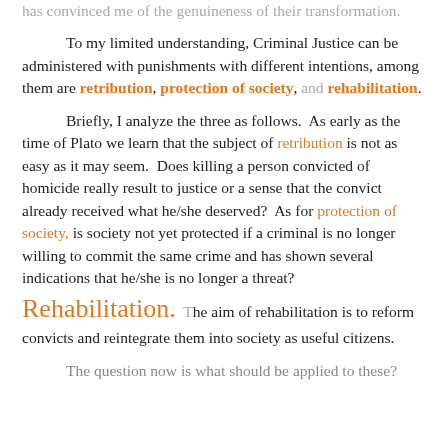has convinced me of the genuineness of their transformation.
To my limited understanding, Criminal Justice can be administered with punishments with different intentions, among them are retribution, protection of society, and rehabilitation.
Briefly, I analyze the three as follows.  As early as the time of Plato we learn that the subject of retribution is not as easy as it may seem.  Does killing a person convicted of homicide really result to justice or a sense that the convict already received what he/she deserved?  As for protection of society, is society not yet protected if a criminal is no longer willing to commit the same crime and has shown several indications that he/she is no longer a threat? Rehabilitation.  The aim of rehabilitation is to reform convicts and reintegrate them into society as useful citizens.
The question now is what should be applied to these?